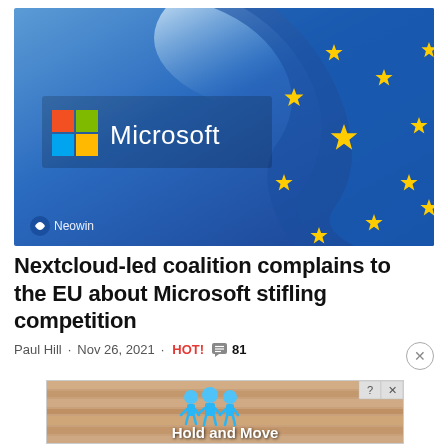[Figure (photo): Hero image showing the Microsoft logo (colorful four-square Windows logo with 'Microsoft' text in white) overlaid on a European Union flag (blue with yellow stars), with a Neowin watermark in the bottom-left corner.]
Nextcloud-led coalition complains to the EU about Microsoft stifling competition
Paul Hill · Nov 26, 2021 · HOT! 🗨️ 81
[Figure (screenshot): Advertisement banner for 'Hold and Move' featuring cartoon blue figures and a sandy/wood background texture.]